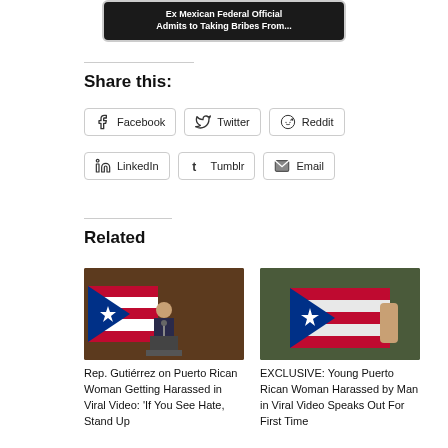[Figure (screenshot): Dark banner image with text 'Ex Mexican Federal Official Admits to Taking Bribes From...']
Share this:
Facebook
Twitter
Reddit
LinkedIn
Tumblr
Email
Related
[Figure (photo): Rep. Gutiérrez speaking at a podium with a Puerto Rico flag in the background]
Rep. Gutiérrez on Puerto Rican Woman Getting Harassed in Viral Video: 'If You See Hate, Stand Up
[Figure (photo): Young woman holding a Puerto Rican flag from behind]
EXCLUSIVE: Young Puerto Rican Woman Harassed by Man in Viral Video Speaks Out For First Time